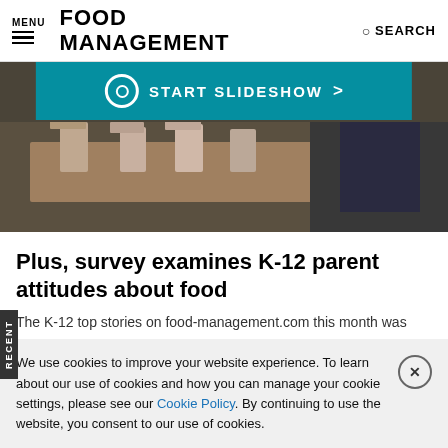MENU | FOOD MANAGEMENT | SEARCH
[Figure (photo): Photo of school cafeteria lunch trays with milk cartons and food items, with a teal 'START SLIDESHOW >' banner overlay.]
Plus, survey examines K-12 parent attitudes about food
The K-12 top stories on food-management.com this month was
We use cookies to improve your website experience. To learn about our use of cookies and how you can manage your cookie settings, please see our Cookie Policy. By continuing to use the website, you consent to our use of cookies.